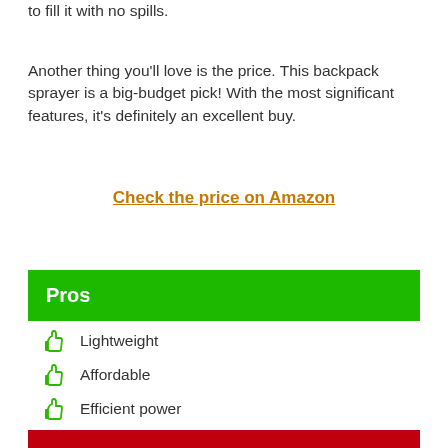to fill it with no spills.
Another thing you'll love is the price. This backpack sprayer is a big-budget pick! With the most significant features, it's definitely an excellent buy.
Check the price on Amazon
Pros
Lightweight
Affordable
Efficient power
High performance